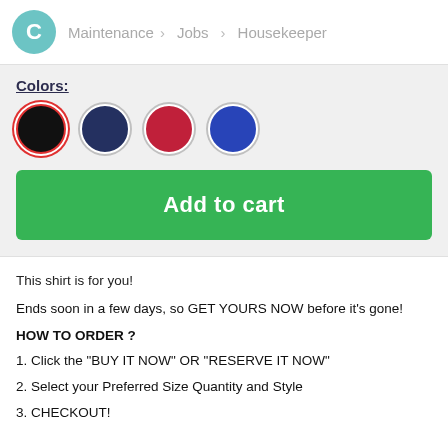C > Maintenance > Jobs > Housekeeper
Colors:
[Figure (illustration): Four color swatches: black (selected with red ring), navy, red, blue]
Add to cart
This shirt is for you!
Ends soon in a few days, so GET YOURS NOW before it's gone!
HOW TO ORDER ?
1. Click the "BUY IT NOW" OR "RESERVE IT NOW"
2. Select your Preferred Size Quantity and Style
3. CHECKOUT!